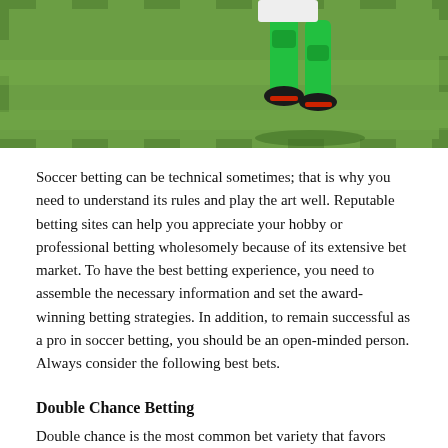[Figure (photo): Soccer player in green uniform kicking on grass field, partial view showing legs and ball, green turf background]
Soccer betting can be technical sometimes; that is why you need to understand its rules and play the art well. Reputable betting sites can help you appreciate your hobby or professional betting wholesomely because of its extensive bet market. To have the best betting experience, you need to assemble the necessary information and set the award-winning betting strategies. In addition, to remain successful as a pro in soccer betting, you should be an open-minded person. Always consider the following best bets.
Double Chance Betting
Double chance is the most common bet variety that favors many risk-averse bettors. It's a two-way Em Wetten strategy that covers any two-match outcomes. The prospect of winning with a double